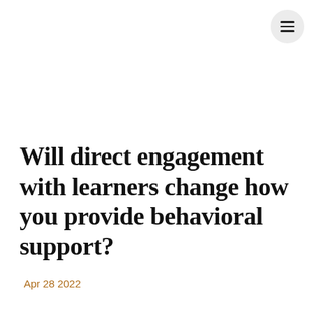[Figure (other): Hamburger menu icon inside a circular light grey button in the top-right corner]
Will direct engagement with learners change how you provide behavioral support?
Apr 28 2022